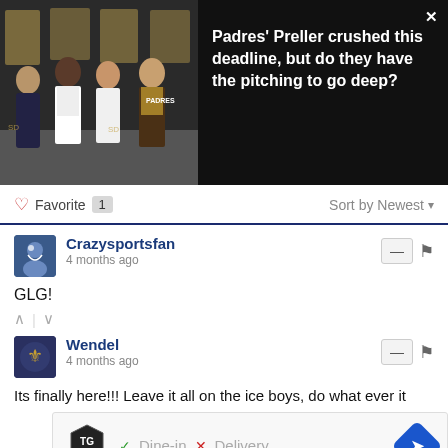[Figure (photo): Hero image showing four men in Padres branded setting, with article headline overlay: Padres' Preller crushed this deadline, but do they have the pitching to go deep?]
Padres' Preller crushed this deadline, but do they have the pitching to go deep?
♡ Favorite 1    Sort by Newest ▾
Crazysportsfan
4 months ago
GLG!
Wendel
4 months ago
Its finally here!!! Leave it all on the ice boys, do what ever it
[Figure (screenshot): Topgolf advertisement showing logo, Dine-in checkmark, Delivery X cross, and navigation arrow]